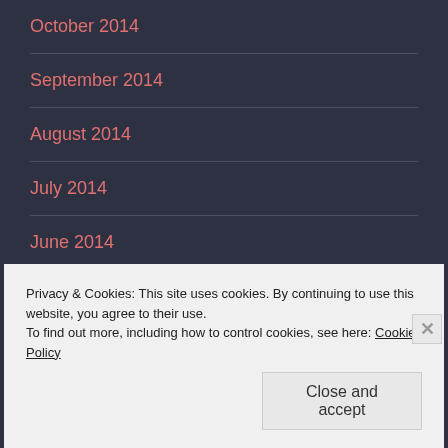October 2014
September 2014
August 2014
July 2014
June 2014
BLOG STATS
Privacy & Cookies: This site uses cookies. By continuing to use this website, you agree to their use.
To find out more, including how to control cookies, see here: Cookie Policy